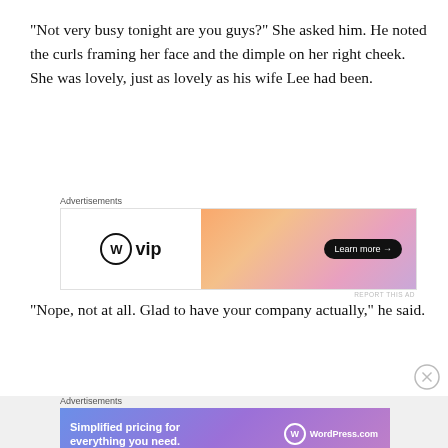“Not very busy tonight are you guys?” She asked him. He noted the curls framing her face and the dimple on her right cheek. She was lovely, just as lovely as his wife Lee had been.
[Figure (other): WordPress VIP advertisement banner with gradient orange-pink background and Learn more button]
“Nope, not at all. Glad to have your company actually,” he said.
[Figure (other): WordPress.com advertisement banner with purple-blue gradient and text: Simplified pricing for everything you need.]